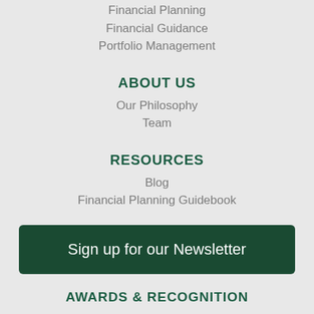Financial Planning
Financial Guidance
Portfolio Management
ABOUT US
Our Philosophy
Team
RESOURCES
Blog
Financial Planning Guidebook
Sign up for our Newsletter
AWARDS & RECOGNITION